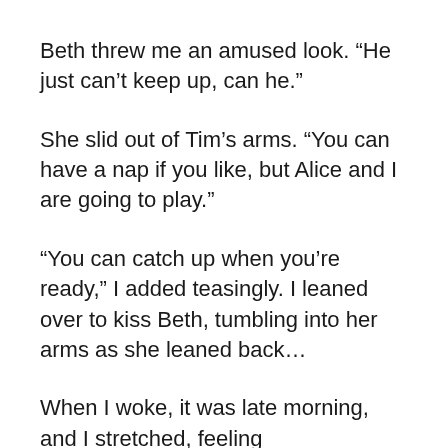Beth threw me an amused look. “He just can’t keep up, can he.”
She slid out of Tim’s arms. “You can have a nap if you like, but Alice and I are going to play.”
“You can catch up when you’re ready,” I added teasingly. I leaned over to kiss Beth, tumbling into her arms as she leaned back…
When I woke, it was late morning, and I stretched, feeling unmistakeable evidence that Tim had found renewed interest after watching Beth and me for a while. I sat up, finding only empty space beside me in the bed, and looked around. Tim was sitting in the window seat, Beth beside him, and he was talking to